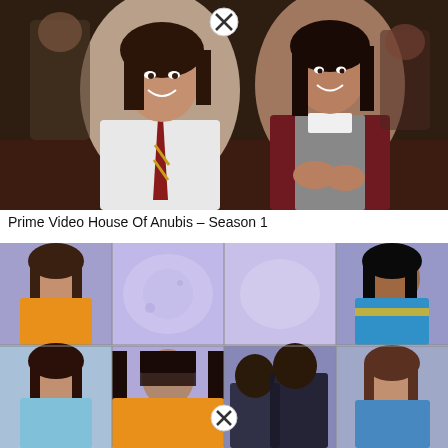[Figure (photo): Two young women in school uniforms smiling and seated in an auditorium. The woman on the left wears a white shirt with a red and gold striped tie; the woman on the right wears a dark maroon blazer over a grey jumper. A close button (X) icon is visible at the top center of the image.]
Prime Video House Of Anubis – Season 1
[Figure (photo): A grid of portrait photos of young women on a purple/blue mystical background. The grid appears to show 6-8 individuals in two rows. A close button (X) icon appears in the center of the second row.]